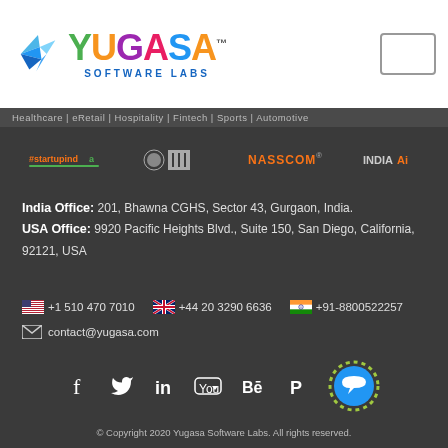[Figure (logo): Yugasa Software Labs logo with colorful bird and multicolor text]
Healthcare | eRetail | Hospitality | Fintech | Sports | Automotive
[Figure (logo): Partner logos row: #startupindia, MSME, NASSCOM, INDIAai]
India Office: 201, Bhawna CGHS, Sector 43, Gurgaon, India.
USA Office: 9920 Pacific Heights Blvd., Suite 150, San Diego, California, 92121, USA
+1 510 470 7010   +44 20 3290 6636   +91-8800522257
contact@yugasa.com
[Figure (infographic): Social media icons: Facebook, Twitter, LinkedIn, YouTube, Behance, Pinterest with chat widget]
© Copyright 2020 Yugasa Software Labs. All rights reserved.